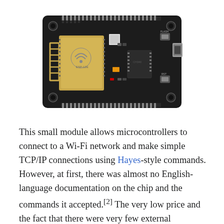[Figure (photo): A NodeMCU / ESP8266 Wi-Fi module development board shown from above. The black PCB board has pin headers along the top and bottom edges, a gold-colored Wi-Fi antenna module (ESP8266) with the Wi-Fi logo on the left side, various surface-mount components in the center and right, a micro-USB connector on the right edge, and mounting holes at each corner.]
This small module allows microcontrollers to connect to a Wi-Fi network and make simple TCP/IP connections using Hayes-style commands. However, at first, there was almost no English-language documentation on the chip and the commands it accepted.[2] The very low price and the fact that there were very few external components on the module, which